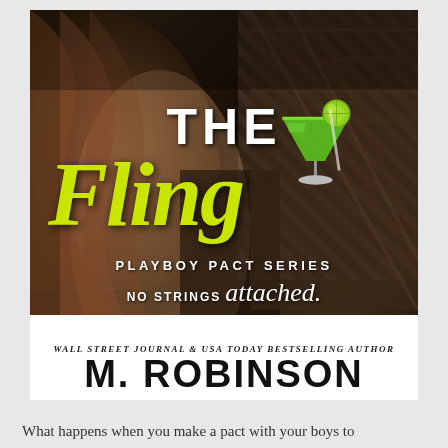[Figure (illustration): Book cover for 'The Fling' by M. Robinson, Playboy Pact Series. Shows a man and woman close together, the woman has long wavy hair, the man wears a plaid shirt. A green margarita cocktail is visible. Title 'THE Fling' in white and yellow-green script lettering, series subtitle 'PLAYBOY PACT SERIES', tagline 'NO STRINGS attached.' Author credited as Wall Street Journal & USA Today Bestselling Author M. Robinson.]
What happens when you make a pact with your boys to